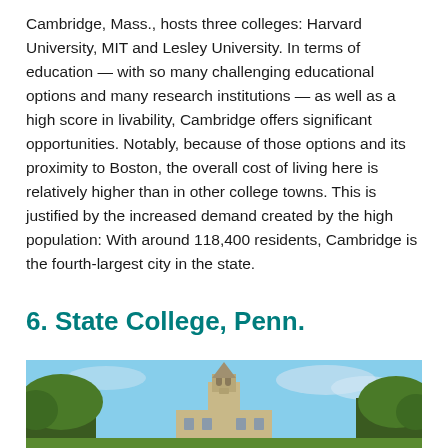Cambridge, Mass., hosts three colleges: Harvard University, MIT and Lesley University. In terms of education — with so many challenging educational options and many research institutions — as well as a high score in livability, Cambridge offers significant opportunities. Notably, because of those options and its proximity to Boston, the overall cost of living here is relatively higher than in other college towns. This is justified by the increased demand created by the high population: With around 118,400 residents, Cambridge is the fourth-largest city in the state.
6. State College, Penn.
[Figure (photo): Photo of a university building with a bell tower/steeple against a blue sky, with trees on either side]